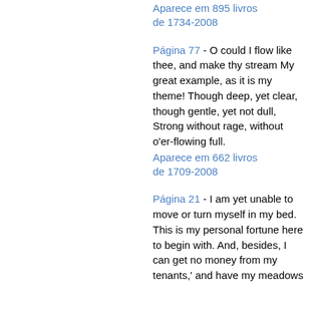Aparece em 895 livros de 1734-2008
Página 77 - O could I flow like thee, and make thy stream My great example, as it is my theme! Though deep, yet clear, though gentle, yet not dull, Strong without rage, without o'er-flowing full.
Aparece em 662 livros de 1709-2008
Página 21 - I am yet unable to move or turn myself in my bed. This is my personal fortune here to begin with. And, besides, I can get no money from my tenants,' and have my meadows